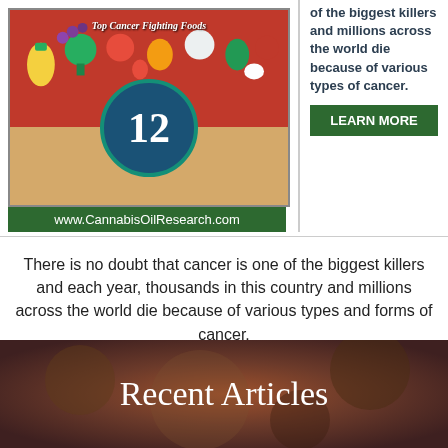[Figure (infographic): Ad image showing '12 Top Cancer Fighting Foods' with colorful fruits and vegetables on red background, circular badge with number 12, and URL www.CannabisOilResearch.com at bottom]
of the biggest killers and millions across the world die because of various types of cancer.
LEARN MORE
There is no doubt that cancer is one of the biggest killers and each year, thousands in this country and millions across the world die because of various types and forms of cancer.
Click HERE to read more
[Figure (photo): Close-up photo background for Recent Articles section showing dark background with brownish tones]
Recent Articles